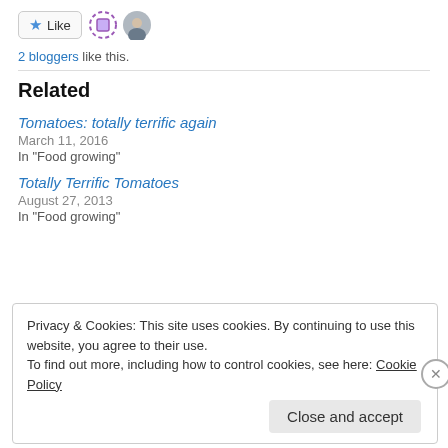[Figure (other): Like button with star icon, dashed purple circle avatar, and a small photo avatar of a person]
2 bloggers like this.
Related
Tomatoes: totally terrific again
March 11, 2016
In "Food growing"
Totally Terrific Tomatoes
August 27, 2013
In "Food growing"
Privacy & Cookies: This site uses cookies. By continuing to use this website, you agree to their use.
To find out more, including how to control cookies, see here: Cookie Policy